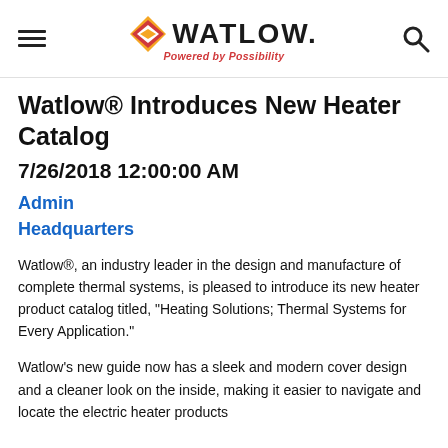Watlow — Powered by Possibility
Watlow® Introduces New Heater Catalog
7/26/2018 12:00:00 AM
Admin
Headquarters
Watlow®, an industry leader in the design and manufacture of complete thermal systems, is pleased to introduce its new heater product catalog titled, “Heating Solutions; Thermal Systems for Every Application.”
Watlow’s new guide now has a sleek and modern cover design and a cleaner look on the inside, making it easier to navigate and locate the electric heater products